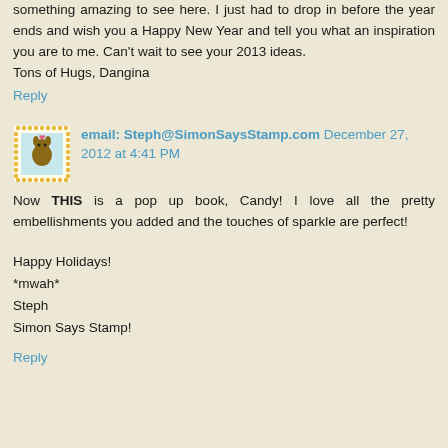something amazing to see here. I just had to drop in before the year ends and wish you a Happy New Year and tell you what an inspiration you are to me. Can't wait to see your 2013 ideas.
Tons of Hugs, Dangina
Reply
email: Steph@SimonSaysStamp.com December 27, 2012 at 4:41 PM
Now THIS is a pop up book, Candy! I love all the pretty embellishments you added and the touches of sparkle are perfect!
Happy Holidays!
*mwah*
Steph
Simon Says Stamp!
Reply